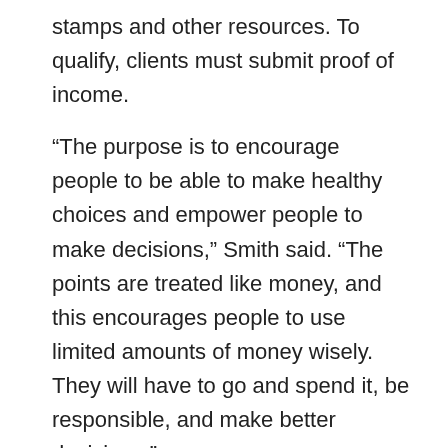stamps and other resources. To qualify, clients must submit proof of income.
“The purpose is to encourage people to be able to make healthy choices and empower people to make decisions,” Smith said. “The points are treated like money, and this encourages people to use limited amounts of money wisely. They will have to go and spend it, be responsible, and make better decisions.”
In addition to the funds received from the J.F Maddox Foundation, the program is already receiving a lot of community support, with the local Albertsons and Walmart donating produce.